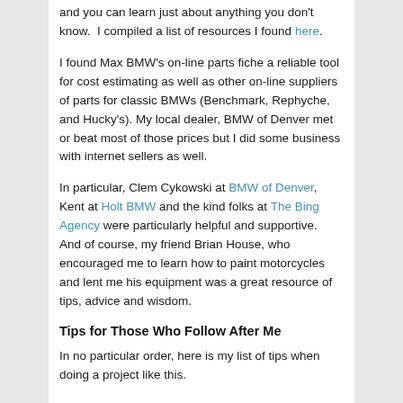and you can learn just about anything you don't know.  I compiled a list of resources I found here.
I found Max BMW's on-line parts fiche a reliable tool for cost estimating as well as other on-line suppliers of parts for classic BMWs (Benchmark, Rephyche, and Hucky's).  My local dealer, BMW of Denver met or beat most of those prices but I did some business with internet sellers as well.
In particular, Clem Cykowski at BMW of Denver, Kent at Holt BMW and the kind folks at The Bing Agency were particularly helpful and supportive.  And of course, my friend Brian House, who encouraged me to learn how to paint motorcycles and lent me his equipment was a great resource of tips, advice and wisdom.
Tips for Those Who Follow After Me
In no particular order, here is my list of tips when doing a project like this.